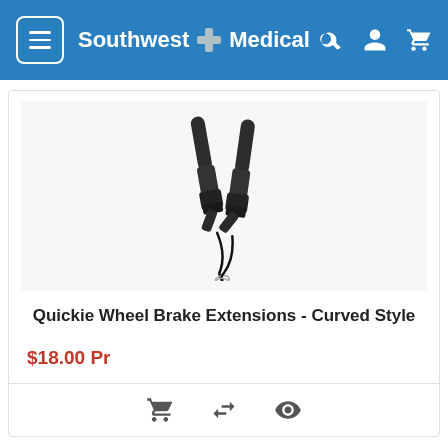Southwest Medical
[Figure (photo): Two curved black wheelchair wheel brake extensions with ergonomic handles and metal cable loops at the bottom.]
Quickie Wheel Brake Extensions - Curved Style
$18.00 Pr